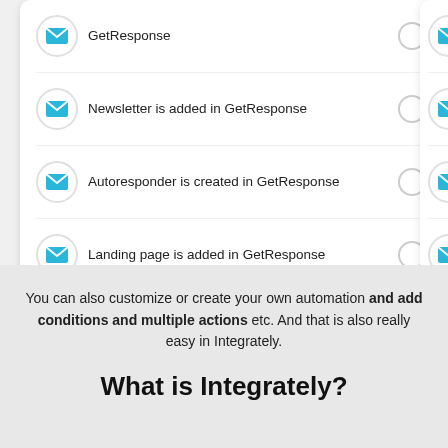[Figure (screenshot): UI screenshot showing a list of automation trigger options for GetResponse integration. Each row has a blue envelope icon on the left, a text label in the middle, and a radio button on the right. Items shown: 'GetResponse', 'Newsletter is added in GetResponse', 'Autoresponder is created in GetResponse', 'Landing page is added in GetResponse', 'Form is added in GetResponse'. A second partially visible panel on the right also shows blue envelope icons.]
You can also customize or create your own automation and add conditions and multiple actions etc. And that is also really easy in Integrately.
What is Integrately?